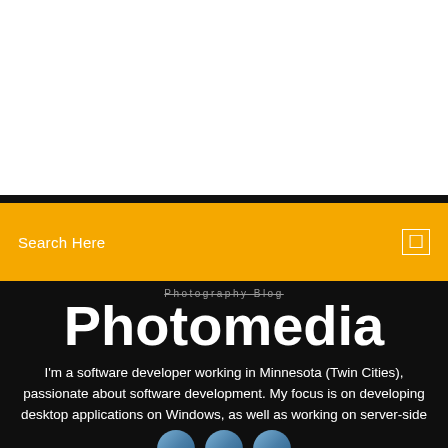[Figure (screenshot): White area at top of page, part of a website screenshot]
Search Here
Photography Blog
Photomedia
I'm a software developer working in Minnesota (Twin Cities), passionate about software development. My focus is on developing desktop applications on Windows, as well as working on server-side components (web services and databases).
[Figure (illustration): Partial blue/dark circular avatar icons at bottom of page]